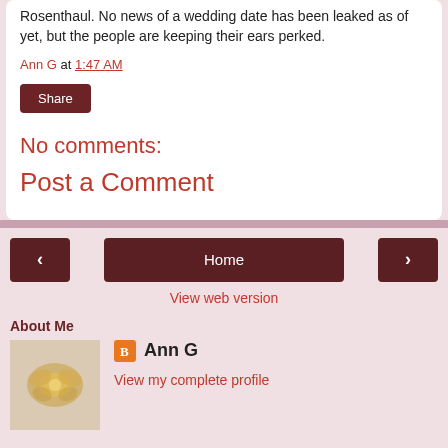Rosenthaul. No news of a wedding date has been leaked as of yet, but the people are keeping their ears perked.
Ann G at 1:47 AM
Share
No comments:
Post a Comment
Home
View web version
About Me
[Figure (photo): Profile photo showing a decorative golden butterfly or flower ornament on a light background]
Ann G
View my complete profile